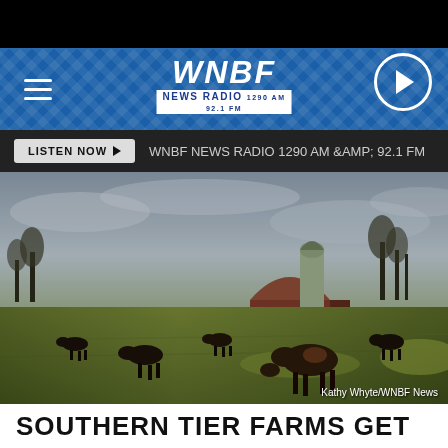WNBF NEWS RADIO 1290 AM & 92.1 FM
LISTEN NOW ▶  WNBF NEWS RADIO 1290 AM &AMP; 92.1 FM
[Figure (photo): Cattle grazing in a green field with a red barn and grain silo in the background under a cloudy sky. Photo credit: Kathy Whyte/WNBF News]
Kathy Whyte/WNBF News
SOUTHERN TIER FARMS GET